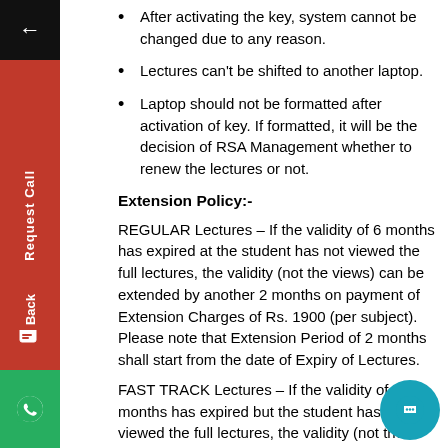After activating the key, system cannot be changed due to any reason.
Lectures can't be shifted to another laptop.
Laptop should not be formatted after activation of key. If formatted, it will be the decision of RSA Management whether to renew the lectures or not.
Extension Policy:-
REGULAR Lectures – If the validity of 6 months has expired at the student has not viewed the full lectures, the validity (not the views) can be extended by another 2 months on payment of Extension Charges of Rs. 1900 (per subject). Please note that Extension Period of 2 months shall start from the date of Expiry of Lectures.
FAST TRACK Lectures – If the validity of 3 months has expired but the student has not viewed the full lectures, the validity (not the views) can be extended by another 1 month on payment of Extension Charges of Rs. 1900 (per subject). Please note that Extension Period of 1 month shall start from the date of Expiry of Lectures.